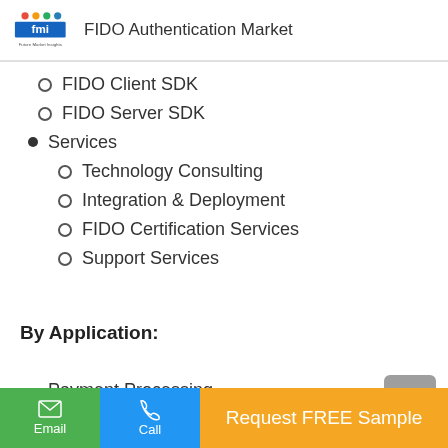FIDO Authentication Market
FIDO Client SDK
FIDO Server SDK
Services
Technology Consulting
Integration & Deployment
FIDO Certification Services
Support Services
By Application:
Payment Processing
Request FREE Sample